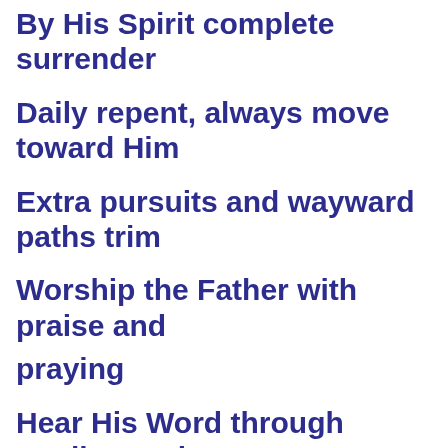By His Spirit complete surrender
Daily repent, always move toward Him
Extra pursuits and wayward paths trim
Worship the Father with praise and praying
Hear His Word through reading and preaching
Devoted to the truth where'er it leads
Truth more than life that for the lost pleads